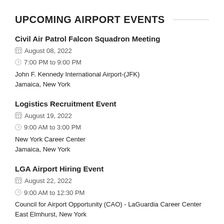UPCOMING AIRPORT EVENTS
Civil Air Patrol Falcon Squadron Meeting
August 08, 2022
7:00 PM to 9:00 PM
John F. Kennedy International Airport-(JFK)
Jamaica, New York
Logistics Recruitment Event
August 19, 2022
9:00 AM to 3:00 PM
New York Career Center
Jamaica, New York
LGA Airport Hiring Event
August 22, 2022
9:00 AM to 12:30 PM
Council for Airport Opportunity (CAO) - LaGuardia Career Center
East Elmhurst, New York